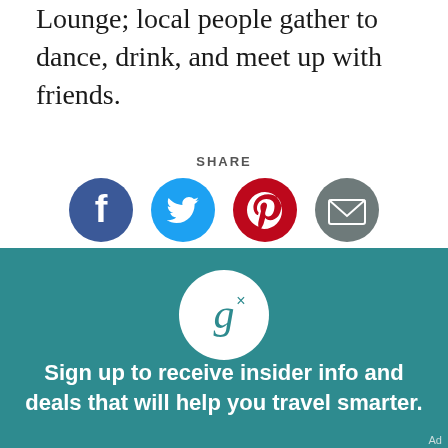Lounge; local people gather to dance, drink, and meet up with friends.
SHARE
[Figure (infographic): Social share icons: Facebook (blue circle), Twitter (light blue circle), Pinterest (red circle), Email (grey circle)]
[Figure (logo): Getaway logo - stylized G with x, white circle on teal background]
Sign up to receive insider info and deals that will help you travel smarter.
Ad